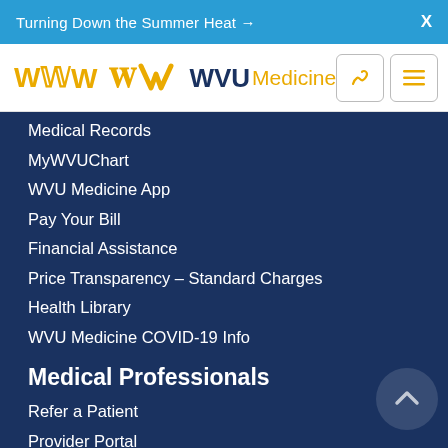Turning Down the Summer Heat →   X
[Figure (logo): WVU Medicine logo with flying WV in gold and dark blue, and phone/menu icons]
Medical Records
MyWVUChart
WVU Medicine App
Pay Your Bill
Financial Assistance
Price Transparency – Standard Charges
Health Library
WVU Medicine COVID-19 Info
Medical Professionals
Refer a Patient
Provider Portal
Transplant Services
Specialists Directory
WVU School of Medicine
Community Info
Careers